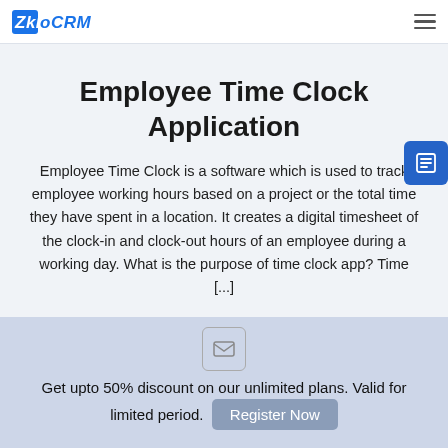ZkIoCRM
Employee Time Clock Application
Employee Time Clock is a software which is used to track employee working hours based on a project or the total time they have spent in a location. It creates a digital timesheet of the clock-in and clock-out hours of an employee during a working day. What is the purpose of time clock app? Time [...]
Get upto 50% discount on our unlimited plans. Valid for limited period.
Register Now